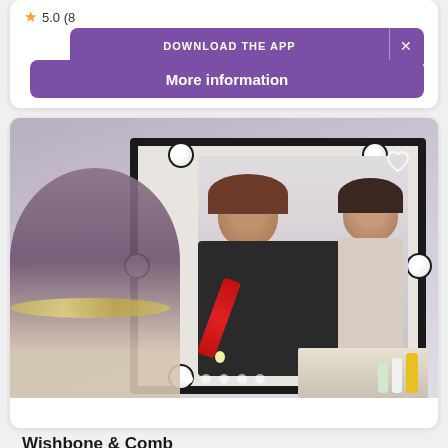5.0 (8...)
DOWNLOAD THE APP
More information
[Figure (photo): A hairstylist working on a client's hair, reflected in a Hollywood-style mirror with round bulbs. The client is smiling, and a person with a floral crown is visible from behind in the foreground. Beauty products are visible on the counter.]
Wishbone & Comb